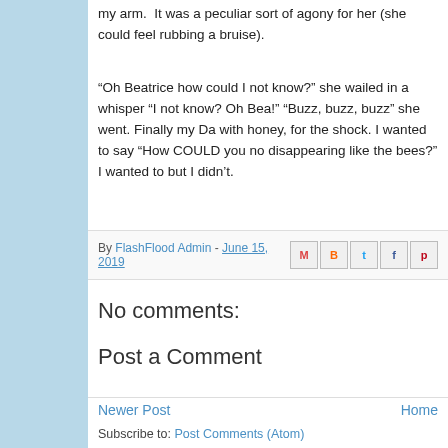my arm.  It was a peculiar sort of agony for her (she could feel rubbing a bruise).
“Oh Beatrice how could I not know?” she wailed in a whisper “I not know? Oh Bea!” “Buzz, buzz, buzz” she went. Finally my Da with honey, for the shock. I wanted to say “How COULD you no disappearing like the bees?” I wanted to but I didn’t.
By FlashFlood Admin - June 15, 2019
No comments:
Post a Comment
Newer Post    Home
Subscribe to: Post Comments (Atom)